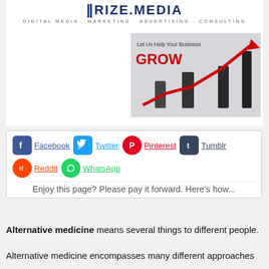[Figure (logo): Prize Media logo with tagline: DIGITAL MEDIA . MARKETING . ADVERTISING . CONSULTING]
[Figure (photo): Advertisement banner: Let Us Help Your Business GROW with people pulling a red upward arrow line chart]
Facebook Twitter Pinterest Tumblr Reddit WhatsApp — social share icons row
Enjoy this page? Please pay it forward. Here's how...
Alternative medicine means several things to different people.
Alternative medicine encompasses many different approaches